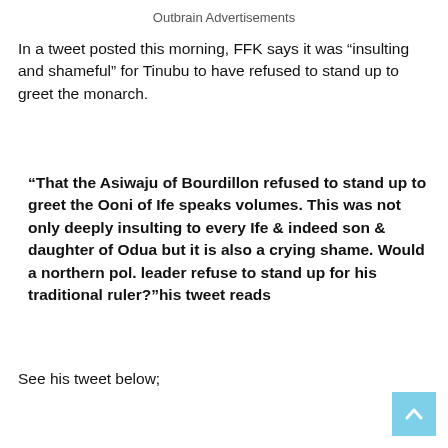Outbrain Advertisements
In a tweet posted this morning, FFK says it was “insulting and shameful” for Tinubu to have refused to stand up to greet the monarch.
“That the Asiwaju of Bourdillon refused to stand up to greet the Ooni of Ife speaks volumes. This was not only deeply insulting to every Ife & indeed son & daughter of Odua but it is also a crying shame. Would a northern pol. leader refuse to stand up for his traditional ruler?”his tweet reads
See his tweet below;